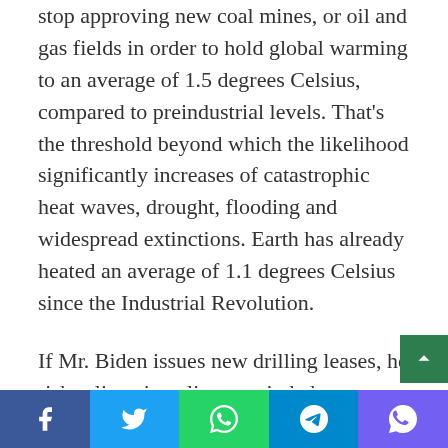stop approving new coal mines, or oil and gas fields in order to hold global warming to an average of 1.5 degrees Celsius, compared to preindustrial levels. That's the threshold beyond which the likelihood significantly increases of catastrophic heat waves, drought, flooding and widespread extinctions. Earth has already heated an average of 1.1 degrees Celsius since the Industrial Revolution.
If Mr. Biden issues new drilling leases, he risks alienating climate-minded voters who Democrats need to turn out for the midterm elections this fall, said Tré Easton, a Democratic strategist.
“Joe Biden breaking a major campaign promise and extending new leases will have no bearing on energy